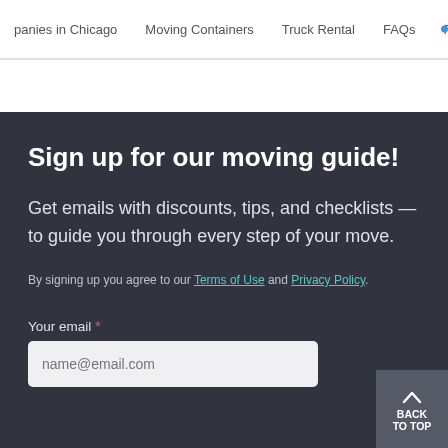panies in Chicago   Moving Containers   Truck Rental   FAQs   Resources
Sign up for our moving guide!
Get emails with discounts, tips, and checklists — to guide you through every step of your move.
By signing up you agree to our Terms of Use and Privacy Policy.
Your email *
name@email.com